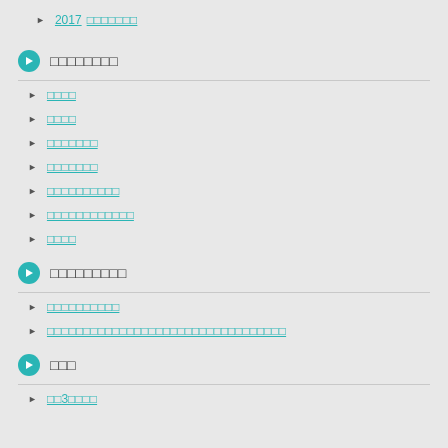2017□□□□□□□
□□□□□□□□
□□□□
□□□□
□□□□□□□
□□□□□□□
□□□□□□□□□□
□□□□□□□□□□□□
□□□□
□□□□□□□□□
□□□□□□□□□□
□□□□□□□□□□□□□□□□□□□□□□□□□□□□□□□□□
□□□
□□3□□□□